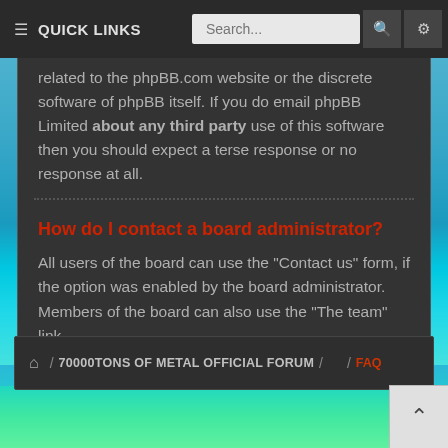QUICK LINKS  Search...
related to the phpBB.com website or the discrete software of phpBB itself. If you do email phpBB Limited about any third party use of this software then you should expect a terse response or no response at all.
How do I contact a board administrator?
All users of the board can use the "Contact us" form, if the option was enabled by the board administrator. Members of the board can also use the "The team" link.
/ 70000TONS OF METAL OFFICIAL FORUM /  / FAQ